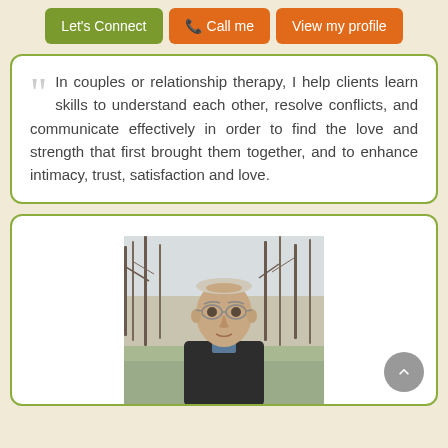[Figure (infographic): Three action buttons: 'Let's Connect' (green), 'Call me' (orange with phone icon), 'View my profile' (orange)]
In couples or relationship therapy, I help clients learn skills to understand each other, resolve conflicts, and communicate effectively in order to find the love and strength that first brought them together, and to enhance intimacy, trust, satisfaction and love.
[Figure (photo): Portrait photo of an older man with glasses and a dark sweater, standing outdoors in front of bare winter trees]